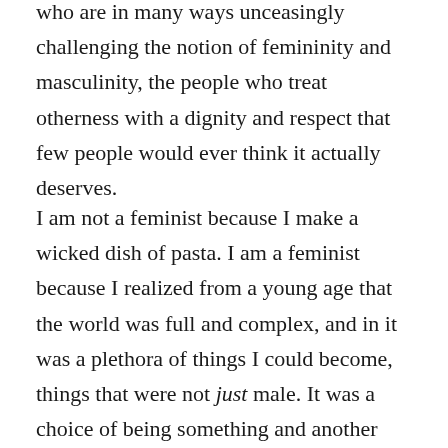who are in many ways unceasingly challenging the notion of femininity and masculinity, the people who treat otherness with a dignity and respect that few people would ever think it actually deserves.
I am not a feminist because I make a wicked dish of pasta. I am a feminist because I realized from a young age that the world was full and complex, and in it was a plethora of things I could become, things that were not just male. It was a choice of being something and another thing. I am a feminist because I understand that culture could be an enforcer of stereotypes, which sometimes meant that I was expected to be sanitized, static,